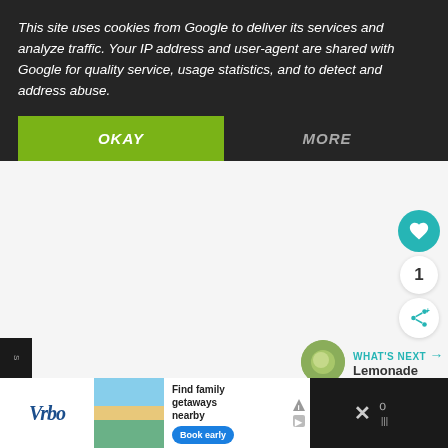This site uses cookies from Google to deliver its services and analyze traffic. Your IP address and user-agent are shared with Google for quality service, usage statistics, and to detect and address abuse.
OKAY
MORE
[Figure (screenshot): Heart/like button (teal circle with white heart icon), count of 1, and share button below on right side of page]
WHAT'S NEXT → Lemonade
[Figure (photo): Small circular thumbnail photo of a lemon or lime fruit for the 'What's Next: Lemonade' section]
[Figure (screenshot): Vrbo advertisement banner: Find family getaways nearby, Book early button, with beach house image]